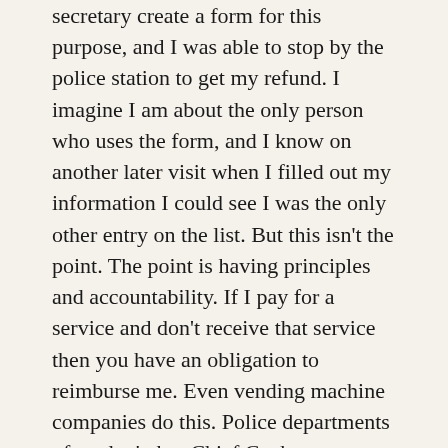secretary create a form for this purpose, and I was able to stop by the police station to get my refund. I imagine I am about the only person who uses the form, and I know on another later visit when I filled out my information I could see I was the only other entry on the list. But this isn't the point. The point is having principles and accountability. If I pay for a service and don't receive that service then you have an obligation to reimburse me. Even vending machine companies do this. Police departments often don't, but Chief Cychosz seems to be an honest man who understands that this was the right thing to do.
Now fast forward to my interaction last month with the Columbus, Ohio police. I put a couple coins in the meter, and then one quarter was not registered. The meter was a fancy computerized one, so they certainly have the ability to balance the amount of